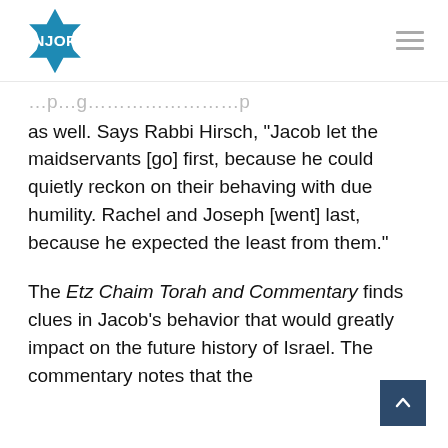NJOP
as well. Says Rabbi Hirsch, “Jacob let the maidservants [go] first, because he could quietly reckon on their behaving with due humility. Rachel and Joseph [went] last, because he expected the least from them.”
The Etz Chaim Torah and Commentary finds clues in Jacob’s behavior that would greatly impact on the future history of Israel. The commentary notes that the